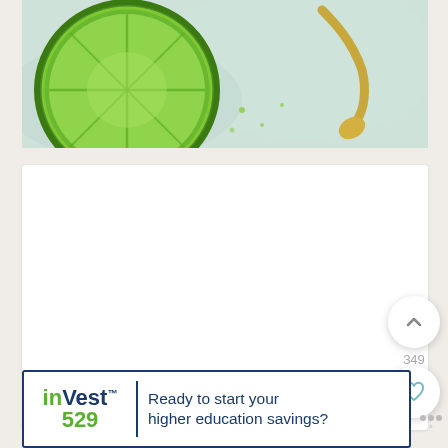[Figure (photo): A halved lime and a gold/brass spoon on a light blue-white marbled surface, viewed from above.]
[Figure (screenshot): White card area, mostly blank content area of a mobile app scroll view]
349
[Figure (infographic): Circular floating action buttons: upward chevron (white circle), heart/like (white circle), and search magnifying glass (teal circle)]
[Figure (other): InVest 529 advertisement banner: 'Ready to start your higher education savings?']